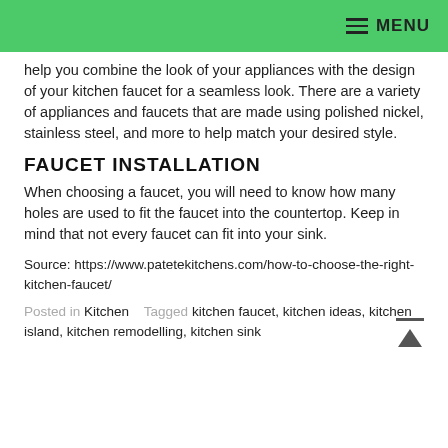MENU
help you combine the look of your appliances with the design of your kitchen faucet for a seamless look. There are a variety of appliances and faucets that are made using polished nickel, stainless steel, and more to help match your desired style.
FAUCET INSTALLATION
When choosing a faucet, you will need to know how many holes are used to fit the faucet into the countertop. Keep in mind that not every faucet can fit into your sink.
Source: https://www.patetekitchens.com/how-to-choose-the-right-kitchen-faucet/
Posted in Kitchen   Tagged kitchen faucet, kitchen ideas, kitchen island, kitchen remodelling, kitchen sink